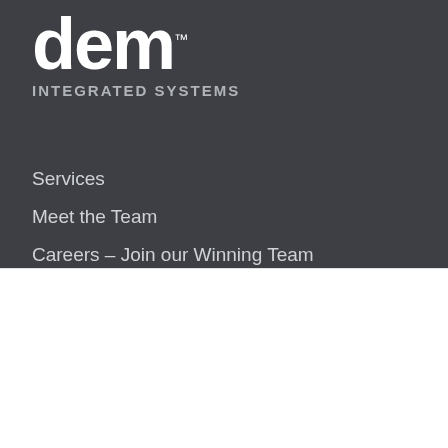[Figure (logo): dem INTEGRATED SYSTEMS logo in white on dark gray background]
Services
Meet the Team
Careers – Join our Winning Team
Privacy Policy
We use cookies on our website to give you the most relevant experience by remembering your preferences and repeat visits. By clicking “Accept”, you consent to the use of ALL the cookies.
Cookie settings
ACCEPT